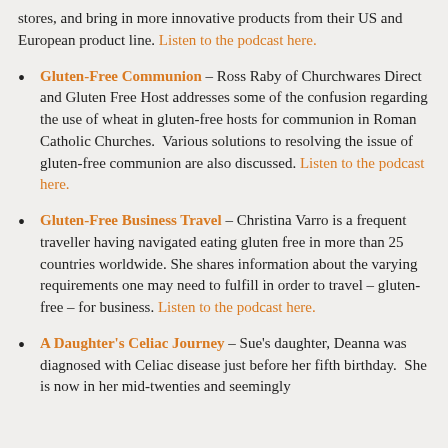stores, and bring in more innovative products from their US and European product line. Listen to the podcast here.
Gluten-Free Communion – Ross Raby of Churchwares Direct and Gluten Free Host addresses some of the confusion regarding the use of wheat in gluten-free hosts for communion in Roman Catholic Churches. Various solutions to resolving the issue of gluten-free communion are also discussed. Listen to the podcast here.
Gluten-Free Business Travel – Christina Varro is a frequent traveller having navigated eating gluten free in more than 25 countries worldwide. She shares information about the varying requirements one may need to fulfill in order to travel – gluten-free – for business. Listen to the podcast here.
A Daughter's Celiac Journey – Sue's daughter, Deanna was diagnosed with Celiac disease just before her fifth birthday. She is now in her mid-twenties and seemingly